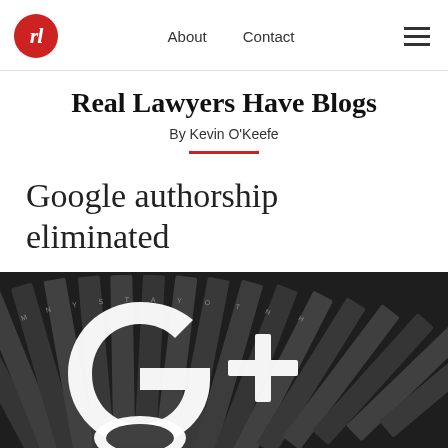Real Lawyers Have Blogs — About | Contact | Menu
Real Lawyers Have Blogs
By Kevin O'Keefe
Google authorship eliminated
[Figure (photo): Black and white photo of old typewriter letter blocks/type slugs arranged in a fan pattern, overlaid with a large white Google+ logo (g+ symbol)]